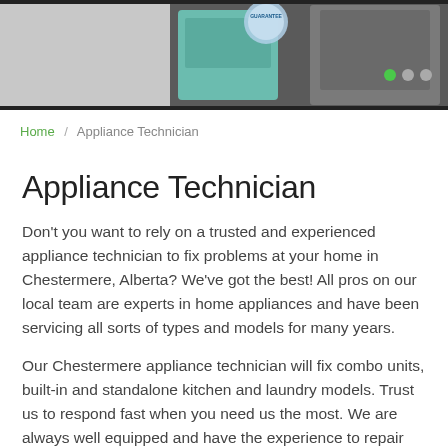[Figure (photo): Hero banner image showing appliances including a washing machine and refrigerator with navigation dots]
Home / Appliance Technician
Appliance Technician
Don't you want to rely on a trusted and experienced appliance technician to fix problems at your home in Chestermere, Alberta? We've got the best! All pros on our local team are experts in home appliances and have been servicing all sorts of types and models for many years.
Our Chestermere appliance technician will fix combo units, built-in and standalone kitchen and laundry models. Trust us to respond fast when you need us the most. We are always well equipped and have the experience to repair any problem.
You can also turn to the pros of our Appliance Repair in
[Figure (photo): Image of a stainless steel refrigerator]